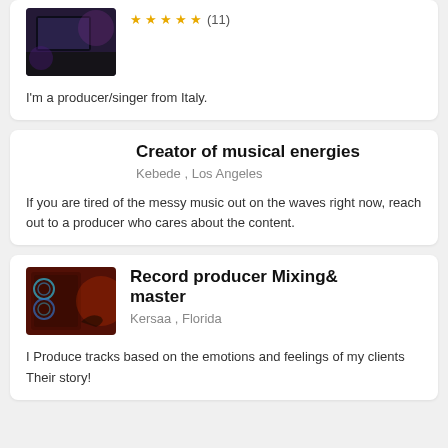[Figure (photo): Profile photo of a person at a computer setup with purple lighting]
★★★★★ (11)
I'm a producer/singer from Italy.
Creator of musical energies
Kebede , Los Angeles
If you are tired of the messy music out on the waves right now, reach out to a producer who cares about the content.
[Figure (photo): Photo of a PC gaming setup with RGB lighting in red tones]
Record producer Mixing& master
Kersaa , Florida
I Produce tracks based on the emotions and feelings of my clients Their story!